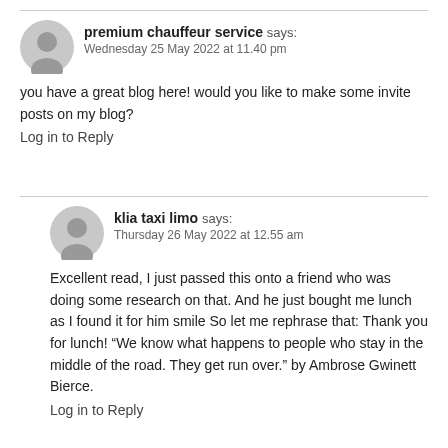premium chauffeur service says:
Wednesday 25 May 2022 at 11.40 pm
you have a great blog here! would you like to make some invite posts on my blog?
Log in to Reply
klia taxi limo says:
Thursday 26 May 2022 at 12.55 am
Excellent read, I just passed this onto a friend who was doing some research on that. And he just bought me lunch as I found it for him smile So let me rephrase that: Thank you for lunch! “We know what happens to people who stay in the middle of the road. They get run over.” by Ambrose Gwinett Bierce.
Log in to Reply